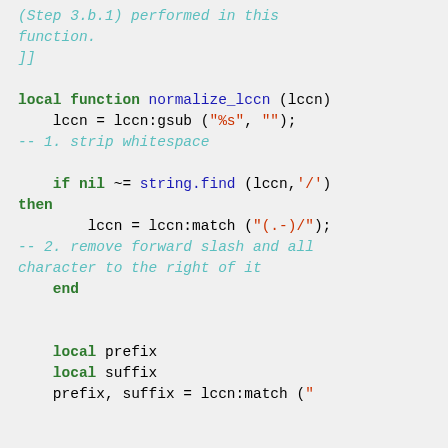(Step 3.b.1) performed in this function.
]]

local function normalize_lccn (lccn)
    lccn = lccn:gsub ("%s", "");
-- 1. strip whitespace

    if nil ~= string.find (lccn,'/')
then
        lccn = lccn:match ("(.-)/");
-- 2. remove forward slash and all character to the right of it
    end


    local prefix
    local suffix
    prefix, suffix = lccn:match (